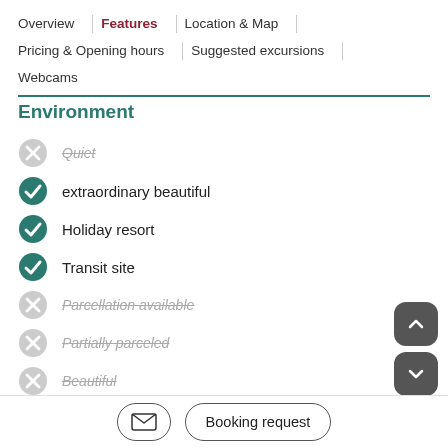Overview | Features | Location & Map | Pricing & Opening hours | Suggested excursions | Webcams
Environment
Quiet (disabled)
extraordinary beautiful
Holiday resort
Transit site
Parcellation available (disabled)
Partially parceled (disabled)
Beautiful (disabled)
Very quiet (disabled)